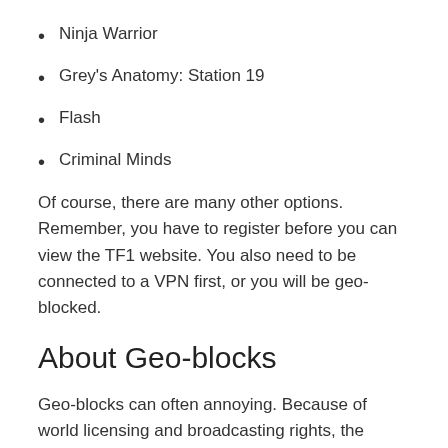Ninja Warrior
Grey's Anatomy: Station 19
Flash
Criminal Minds
Of course, there are many other options. Remember, you have to register before you can view the TF1 website. You also need to be connected to a VPN first, or you will be geo-blocked.
About Geo-blocks
Geo-blocks can often annoying. Because of world licensing and broadcasting rights, the media companies like TF1 block anyone outside of their targeted area. In other words, if you are traveling, want to watch region specific coverage, or just